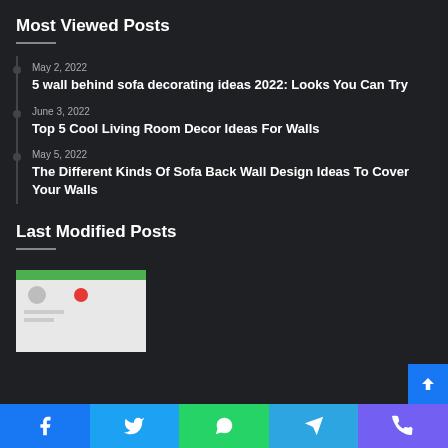Most Viewed Posts
May 2, 2022 — 5 wall behind sofa decorating ideas 2022: Looks You Can Try
June 3, 2022 — Top 5 Cool Living Room Decor Ideas For Walls
May 5, 2022 — The Different Kinds Of Sofa Back Wall Design Ideas To Cover Your Walls
Last Modified Posts
[Figure (screenshot): Screenshot of a webpage with green header bar, circular icons, and content cards]
Facebook | Twitter | WhatsApp | Telegram | Viber social sharing bar